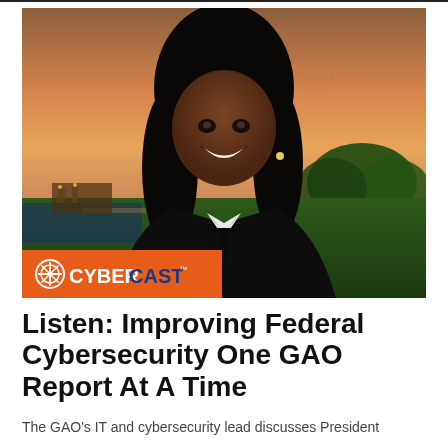[Figure (photo): Professional portrait of a smiling Black woman with long curly hair, wearing a black blazer with white collar, posed in front of a Washington DC skyline at sunset with the Washington Monument visible. An orange banner at the bottom reads 'CyberCast' logo.]
Listen: Improving Federal Cybersecurity One GAO Report At A Time
The GAO's IT and cybersecurity lead discusses President